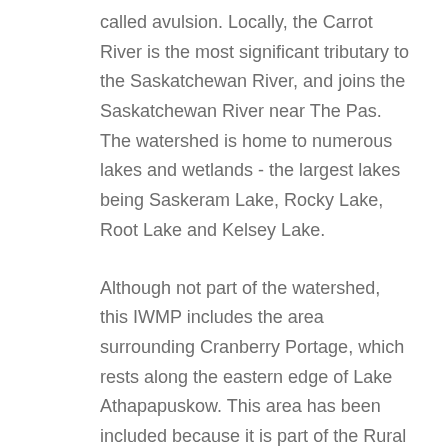called avulsion. Locally, the Carrot River is the most significant tributary to the Saskatchewan River, and joins the Saskatchewan River near The Pas. The watershed is home to numerous lakes and wetlands - the largest lakes being Saskeram Lake, Rocky Lake, Root Lake and Kelsey Lake.
Although not part of the watershed, this IWMP includes the area surrounding Cranberry Portage, which rests along the eastern edge of Lake Athapapuskow. This area has been included because it is part of the Rural Municipality (RM) of Kelsey and Kelsey Watershed District. The conservation district has identified targeted incentive programming in this area to include as part of the IWMP.